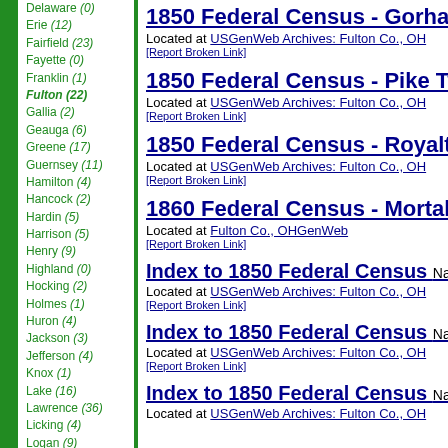Delaware (0)
Erie (12)
Fairfield (23)
Fayette (0)
Franklin (1)
Fulton (22)
Gallia (2)
Geauga (6)
Greene (17)
Guernsey (11)
Hamilton (4)
Hancock (2)
Hardin (5)
Harrison (5)
Henry (9)
Highland (0)
Hocking (2)
Holmes (1)
Huron (4)
Jackson (3)
Jefferson (4)
Knox (1)
Lake (16)
Lawrence (36)
Licking (4)
Logan (9)
Lorain (1)
Lucas (1)
Madison (2)
Mahoning (4)
1850 Federal Census - Gorham Twp. Located at USGenWeb Archives: Fulton Co., OH [Report Broken Link]
1850 Federal Census - Pike Twp. Located at USGenWeb Archives: Fulton Co., OH [Report Broken Link]
1850 Federal Census - Royalton Twp. Located at USGenWeb Archives: Fulton Co., OH [Report Broken Link]
1860 Federal Census - Mortality Sc. Located at Fulton Co., OHGenWeb [Report Broken Link]
Index to 1850 Federal Census Names. Located at USGenWeb Archives: Fulton Co., OH [Report Broken Link]
Index to 1850 Federal Census Names. Located at USGenWeb Archives: Fulton Co., OH [Report Broken Link]
Index to 1850 Federal Census Names. Located at USGenWeb Archives: Fulton Co., OH